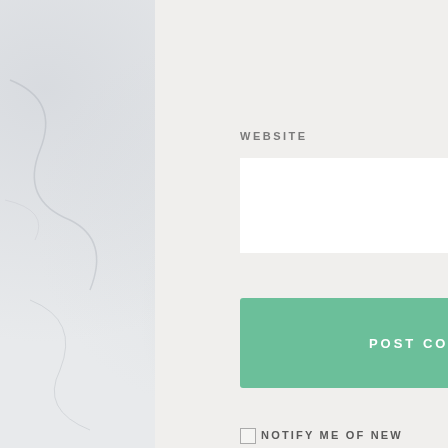WEBSITE
[Figure (screenshot): White input field for website URL entry]
[Figure (screenshot): Green button labeled POST COMMENT]
NOTIFY ME OF NEW COMMENTS VIA EMAIL.
NOTIFY ME OF NEW POSTS VIA EMAIL.